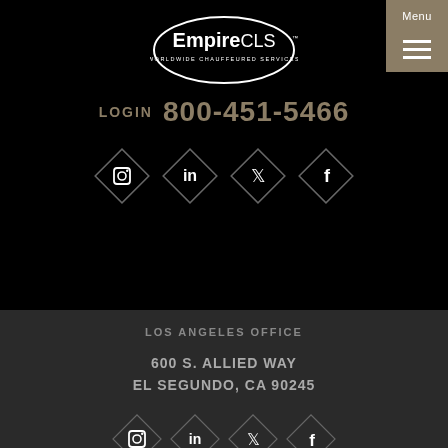[Figure (logo): EmpireCLS Worldwide Chauffeured Services oval logo in white on black background]
LOGIN  800-451-5466
[Figure (infographic): Four diamond-shaped social media icons (Instagram, LinkedIn, Twitter, Facebook) in dark style]
LOS ANGELES OFFICE
600 S. ALLIED WAY
EL SEGUNDO, CA 90245
[Figure (infographic): Four diamond-shaped social media icons (Instagram, LinkedIn, Twitter, Facebook) in dark style]
This website uses cookies to improve your experience. We'll assume you're ok with this, but you can opt-out if you wish.
Accept  Read More